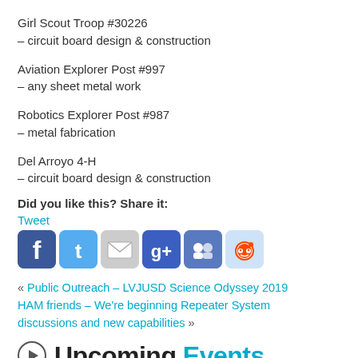Girl Scout Troop #30226
– circuit board design & construction
Aviation Explorer Post #997
– any sheet metal work
Robotics Explorer Post #987
– metal fabrication
Del Arroyo 4-H
– circuit board design & construction
Did you like this? Share it:
Tweet
[Figure (infographic): Social sharing icons: Facebook, Twitter, Email, Google+, MySpace, Reddit]
« Public Outreach – LVJUSD Science Odyssey 2019 HAM friends – We're beginning Repeater System discussions and new capabilities »
Upcoming Events